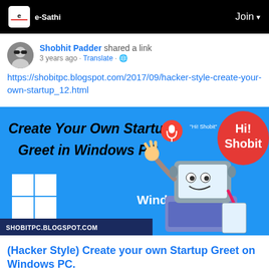e-Sathi   Join
Shobhit Padder shared a link
3 years ago · Translate · 🌐
https://shobitpc.blogspot.com/2017/09/hacker-style-create-your-own-startup_12.html
[Figure (illustration): Blog post banner image with blue background showing 'Create Your Own Startup Greet in Windows PC' text, Windows 10 logo, cartoon PC character waving, red speech bubble saying 'Hi! Shobit', and domain label SHOBITPC.BLOGSPOT.COM]
(Hacker Style) Create your own Startup Greet on Windows PC.